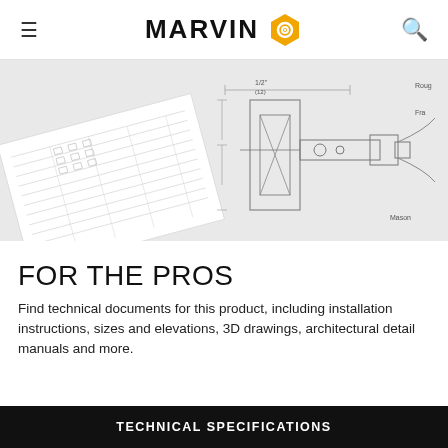MARVIN
[Figure (engineering-diagram): Technical engineering drawings and schematics spread out, showing cross-section details of window installation with dimension annotations including '1/2 (12)', 'Rough', 'Frame', and 'Masonry' labels]
FOR THE PROS
Find technical documents for this product, including installation instructions, sizes and elevations, 3D drawings, architectural detail manuals and more.
TECHNICAL SPECIFICATIONS